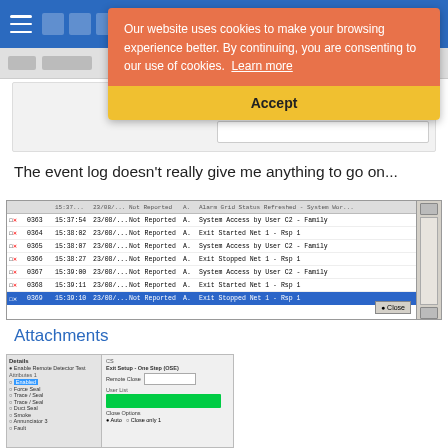[Figure (screenshot): Blue navigation header bar with hamburger menu and icons, with a cookie consent banner overlay showing orange background text 'Our website uses cookies to make your browsing experience better. By continuing, you are consenting to our use of cookies. Learn more' and a yellow Accept button below.]
The event log doesn't really give me anything to go on...
[Figure (screenshot): Event log table screenshot showing rows with checkboxes, event numbers (0363-0369), timestamps (15:37:54 to 15:39:10), dates (23/08/...), status (Not Reported), and descriptions including System Access by User C2 - Family, Exit Started Net 1 - Rsp 1, Exit Stopped Net 1 - Rsp 1. Last row 0369 is highlighted in blue.]
Attachments
[Figure (screenshot): Software settings panel screenshot showing radio buttons and options on the left, with content panel on right showing a green highlighted bar.]